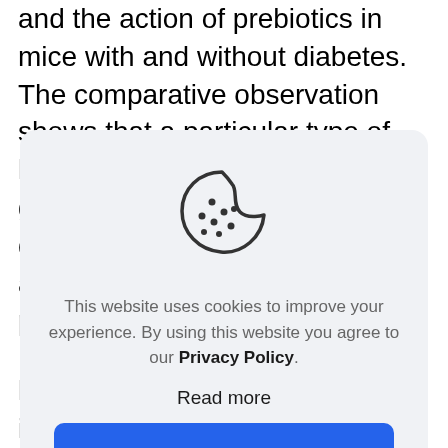and the action of prebiotics in mice with and without diabetes. The comparative observation shows that a particular type of lipid is severely deficient in the gut of mice and people with diabetes. Not only that, but they also determined that this particular lipid is
[Figure (illustration): Cookie icon — a round cookie with a bite taken out of the top-right, with dots representing chocolate chips, drawn in a simple outline style in dark gray on a light gray background.]
This website uses cookies to improve your experience. By using this website you agree to our Privacy Policy.
Read more
ACCEPT ALL
lipid that can reduce intestinal inflammation.